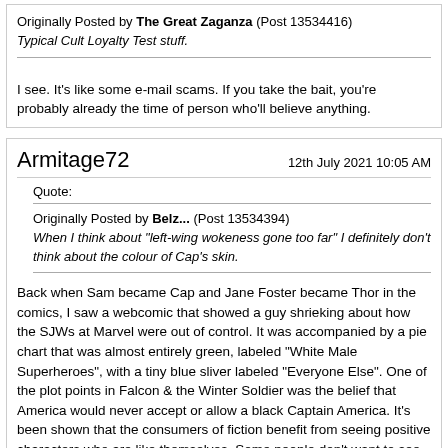Originally Posted by The Great Zaganza (Post 13534416)
Typical Cult Loyalty Test stuff.
I see. It's like some e-mail scams. If you take the bait, you're probably already the time of person who'll believe anything.
Armitage72
12th July 2021 10:05 AM
Quote:
Originally Posted by Belz... (Post 13534394)
When I think about "left-wing wokeness gone too far" I definitely don't think about the colour of Cap's skin.
Back when Sam became Cap and Jane Foster became Thor in the comics, I saw a webcomic that showed a guy shrieking about how the SJWs at Marvel were out of control. It was accompanied by a pie chart that was almost entirely green, labeled "White Male Superheroes", with a tiny blue sliver labeled "Everyone Else". One of the plot points in Falcon & the Winter Soldier was the belief that America would never accept or allow a black Captain America. It's been shown that the consumers of fiction benefit from seeing positive characters who are like themselves. Some people don't want to see anyone who isn't like themselves and see such characters as an attack on them.